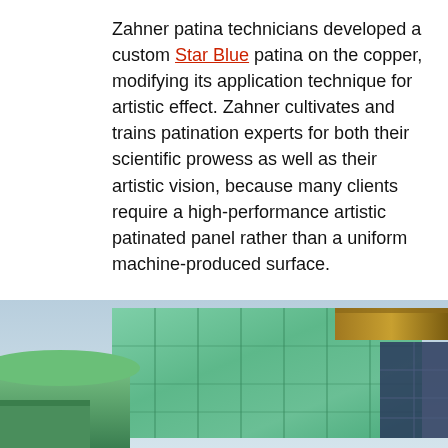Zahner patina technicians developed a custom Star Blue patina on the copper, modifying its application technique for artistic effect. Zahner cultivates and trains patination experts for both their scientific prowess as well as their artistic vision, because many clients require a high-performance artistic patinated panel rather than a uniform machine-produced surface.
These copper sheets were then formed by Zahner into a panels. The prefabricated panels were crated and shipped to the job site in Toronto, where the pre-patinated panels were installed.
[Figure (photo): Exterior photo of a building with green patinated copper panels (teal/turquoise colour) on the facade, with a wooden/brown roof overhang visible at upper right, and green landscaping visible at the bottom left. Sky is light blue in the background.]